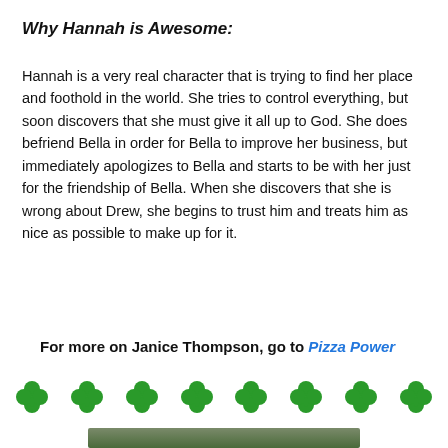Why Hannah is Awesome:
Hannah is a very real character that is trying to find her place and foothold in the world. She tries to control everything, but soon discovers that she must give it all up to God. She does befriend Bella in order for Bella to improve her business, but immediately apologizes to Bella and starts to be with her just for the friendship of Bella. When she discovers that she is wrong about Drew, she begins to trust him and treats him as nice as possible to make up for it.
For more on Janice Thompson, go to Pizza Power
[Figure (illustration): A row of eight green four-leaf clover decorative icons]
[Figure (photo): Partial photo of a person at the bottom of the page]